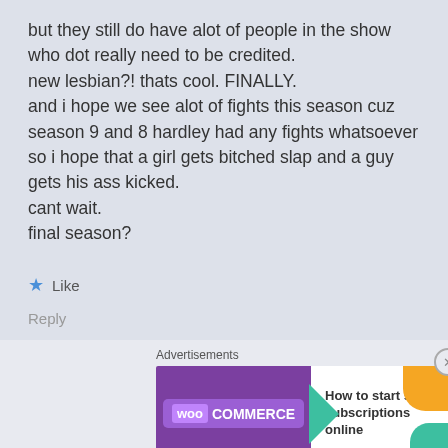but they still do have alot of people in the show who dot really need to be credited.
new lesbian?! thats cool. FINALLY.
and i hope we see alot of fights this season cuz season 9 and 8 hardley had any fights whatsoever so i hope that a girl gets bitched slap and a guy gets his ass kicked.
cant wait.
final season?
★ Like
Reply
Advertisements
[Figure (screenshot): WooCommerce advertisement banner: purple background with WooCommerce logo, green arrow, and text 'How to start selling subscriptions online']